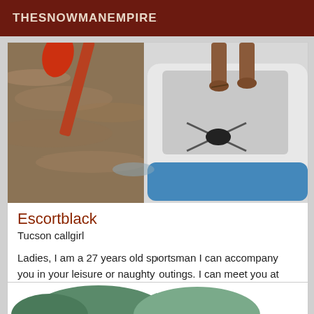THESNOWMANEMPIRE
[Figure (photo): Photo of a paddleboard on water with a red oar/paddle on the left and a person's feet standing on the white and blue inflatable paddleboard on the right]
Escortblack
Tucson callgirl
Ladies, I am a 27 years old sportsman I can accompany you in your leisure or naughty outings. I can meet you at your hotel or in the place of your choice if you prefer I can welcome you in my cosy apartment. I look forward to meeting you.
[Figure (photo): Partial view of a second listing card showing the top of what appears to be a green tent or similar outdoor equipment]